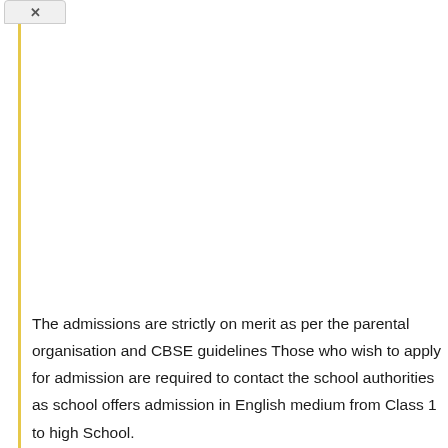The admissions are strictly on merit as per the parental organisation and CBSE guidelines Those who wish to apply for admission are required to contact the school authorities as school offers admission in English medium from Class 1 to high School.